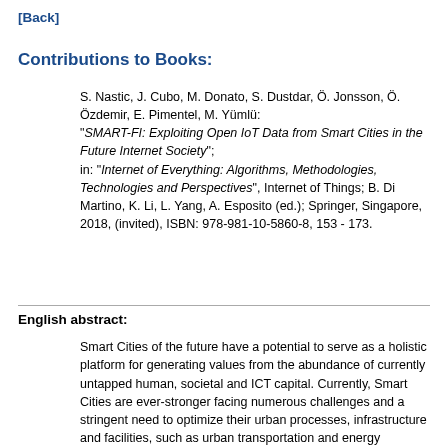[Back]
Contributions to Books:
S. Nastic, J. Cubo, M. Donato, S. Dustdar, Ö. Jonsson, Ö. Özdemir, E. Pimentel, M. Yümlü: "SMART-FI: Exploiting Open IoT Data from Smart Cities in the Future Internet Society"; in: "Internet of Everything: Algorithms, Methodologies, Technologies and Perspectives", Internet of Things; B. Di Martino, K. Li, L. Yang, A. Esposito (ed.); Springer, Singapore, 2018, (invited), ISBN: 978-981-10-5860-8, 153 - 173.
English abstract:
Smart Cities of the future have a potential to serve as a holistic platform for generating values from the abundance of currently untapped human, societal and ICT capital. Currently, Smart Cities are ever-stronger facing numerous challenges and a stringent need to optimize their urban processes, infrastructure and facilities, such as urban transportation and energy management. Unfortunately, at the moment, small portion of urban data is being exploited for gaining better insights and optimizing Smart City processes. In this chapter, we introduce a novel Smart City platform being developed in the context of SMART-FI project. The SMART-FI platform aims to facilitate analyzing, deploying, managing and interoperating Smart City data analytics services. Firstly, SMART-FI strives to enable collecting the data from a